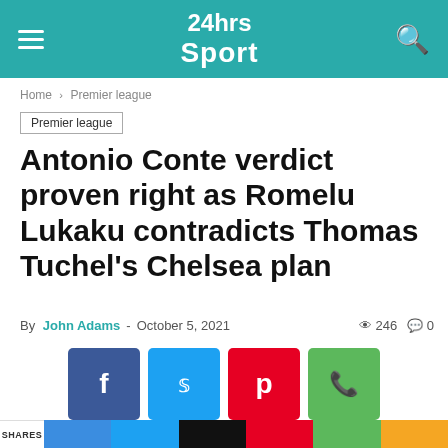24hrs Sport
Home › Premier league
Premier league
Antonio Conte verdict proven right as Romelu Lukaku contradicts Thomas Tuchel's Chelsea plan
By John Adams - October 5, 2021 · 246 views · 0 comments
[Figure (infographic): Social sharing buttons: Facebook (f), Twitter (bird), Pinterest (p), WhatsApp (phone icon)]
Romelu Lukaku has seemingly offered an insight into his